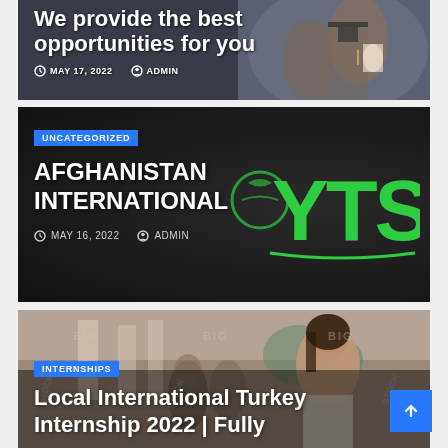[Figure (photo): Graduation photo partially visible at top — students in graduation gowns with diplomas]
We provide the best opportunities for you
MAY 17, 2022  ADMIN
[Figure (logo): Dark card with YTS logo in green and AFGHANISTAN INTERNATIONAL text in white]
UNCATEGORIZED
AFGHANISTAN INTERNATIONAL
MAY 16, 2022  ADMIN
[Figure (photo): Smiling young woman student on campus with people in background — internship article thumbnail]
INTERNSHIPS
Local International Turkey Internship 2022 | Fully